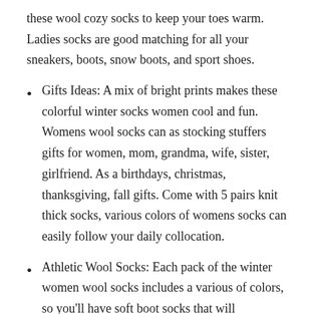these wool cozy socks to keep your toes warm. Ladies socks are good matching for all your sneakers, boots, snow boots, and sport shoes.
Gifts Ideas: A mix of bright prints makes these colorful winter socks women cool and fun. Womens wool socks can as stocking stuffers gifts for women, mom, grandma, wife, sister, girlfriend. As a birthdays, christmas, thanksgiving, fall gifts. Come with 5 pairs knit thick socks, various colors of womens socks can easily follow your daily collocation.
Athletic Wool Socks: Each pack of the winter women wool socks includes a various of colors, so you'll have soft boot socks that will coordinate with whatever you're wearing the womens crew socks are suit for hiking, walking, sleeping or during any outdoor activities.